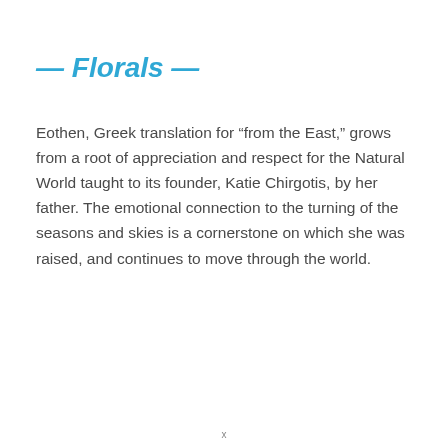— Florals —
Eothen, Greek translation for “from the East,” grows from a root of appreciation and respect for the Natural World taught to its founder, Katie Chirgotis, by her father. The emotional connection to the turning of the seasons and skies is a cornerstone on which she was raised, and continues to move through the world.